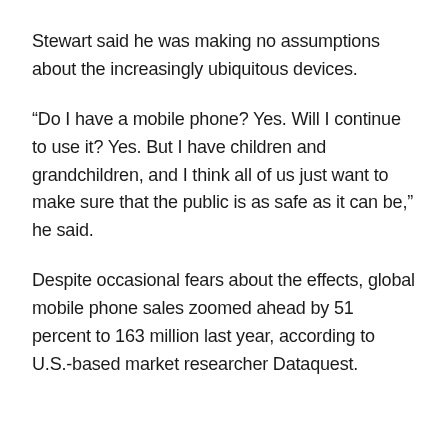Stewart said he was making no assumptions about the increasingly ubiquitous devices.
“Do I have a mobile phone? Yes. Will I continue to use it? Yes. But I have children and grandchildren, and I think all of us just want to make sure that the public is as safe as it can be,” he said.
Despite occasional fears about the effects, global mobile phone sales zoomed ahead by 51 percent to 163 million last year, according to U.S.-based market researcher Dataquest.